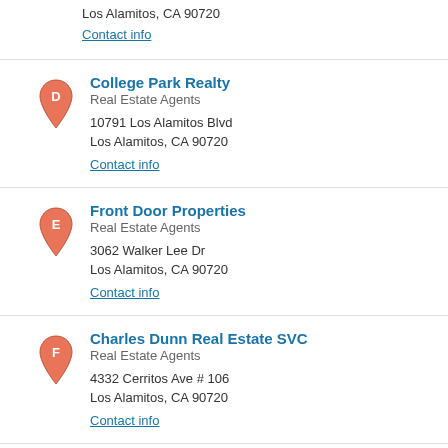Los Alamitos, CA 90720
Contact info
College Park Realty
Real Estate Agents
10791 Los Alamitos Blvd
Los Alamitos, CA 90720
Contact info
Front Door Properties
Real Estate Agents
3062 Walker Lee Dr
Los Alamitos, CA 90720
Contact info
Charles Dunn Real Estate SVC
Real Estate Agents
4332 Cerritos Ave # 106
Los Alamitos, CA 90720
Contact info
Pasley Realty
Real Estate Services